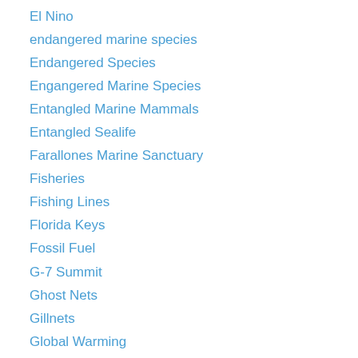El Nino
endangered marine species
Endangered Species
Engangered Marine Species
Entangled Marine Mammals
Entangled Sealife
Farallones Marine Sanctuary
Fisheries
Fishing Lines
Florida Keys
Fossil Fuel
G-7 Summit
Ghost Nets
Gillnets
Global Warming
gray whales
Great Barrier Reef
Great Lakes
Great Pacific Trash Island
Great White Sharks